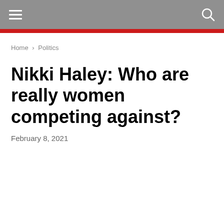☰  🔍
Home › Politics
Nikki Haley: Who are really women competing against?
February 8, 2021